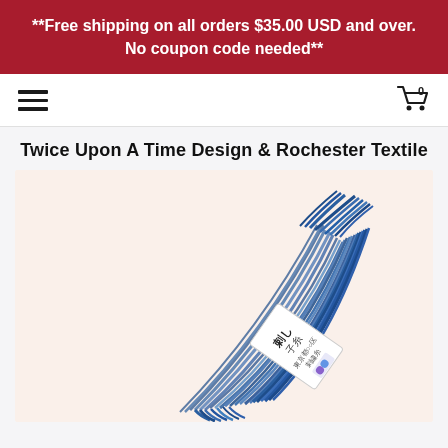**Free shipping on all orders $35.00 USD and over. No coupon code needed**
Twice Upon A Time Design & Rochester Textile
[Figure (photo): A skein of blue variegated Japanese embroidery thread (sashiko thread) with a white paper label bearing Japanese characters. The thread is wound in a loose bundle showing shades of medium and dark blue. Background is a warm off-white/cream color.]